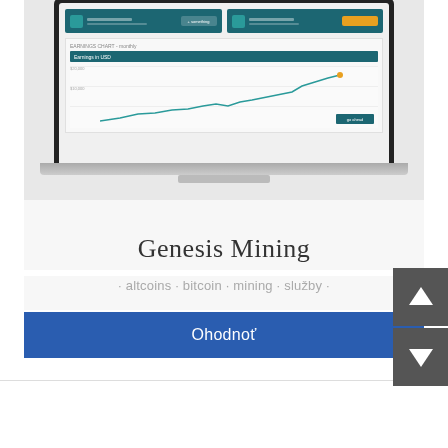[Figure (screenshot): Laptop computer displaying a cryptocurrency mining dashboard with teal/dark color scheme, showing mining statistics and a line chart]
Genesis Mining
· altcoins · bitcoin · mining · služby ·
Ohodnoť
[Figure (other): Navigation up arrow button (dark gray square with white upward arrow)]
[Figure (other): Navigation down arrow button (dark gray square with white downward arrow)]